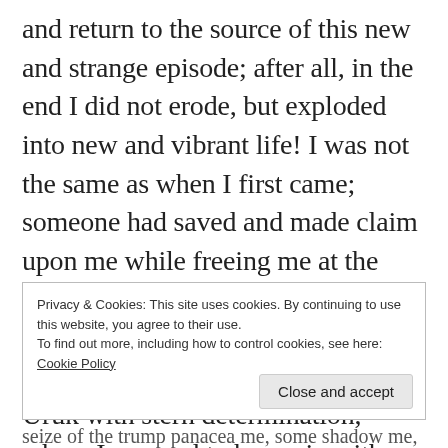and return to the source of this new and strange episode; after all, in the end I did not erode, but exploded into new and vibrant life! I was not the same as when I first came; someone had saved and made claim upon me while freeing me at the same time to the celebratory chime of the heavenlies. It was settled, then: With mettle I would return to Uruk with stern determination, where I yearned to be again with Kheba...
Privacy & Cookies: This site uses cookies. By continuing to use this website, you agree to their use.
To find out more, including how to control cookies, see here: Cookie Policy
Close and accept
seize of the trump panacea me, some shadow me,